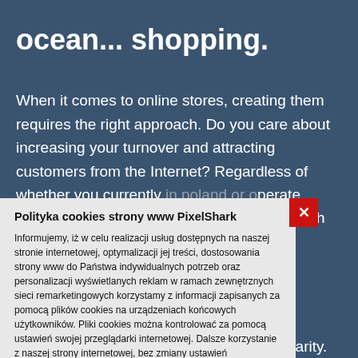ocean... shopping.
When it comes to online stores, creating them requires the right approach. Do you care about increasing your turnover and attracting customers from the Internet? Regardless of whether you currently in poland or operate throughout Poland, thanks to cooperation with the Pixel Shark team, you can count on the best solutions! economically, and online stores are constantly gaining popularity. Today you do not need a fortune to become the owner of a website that allows you to shop quickly, conveniently and safely
Polityka cookies strony www PixelShark
Informujemy, iż w celu realizacji usług dostępnych na naszej stronie internetowej, optymalizacji jej treści, dostosowania strony www do Państwa indywidualnych potrzeb oraz personalizacji wyświetlanych reklam w ramach zewnętrznych sieci remarketingowych korzystamy z informacji zapisanych za pomocą plików cookies na urządzeniach końcowych użytkowników. Pliki cookies można kontrolować za pomocą ustawień swojej przeglądarki internetowej. Dalsze korzystanie z naszej strony internetowej, bez zmiany ustawień przeglądarki internetowej oznacza, iż użytkownik akceptuje stosowanie plików cookies. Więcej informacji zawartych jest w:
polityce prywatności strony internetowej